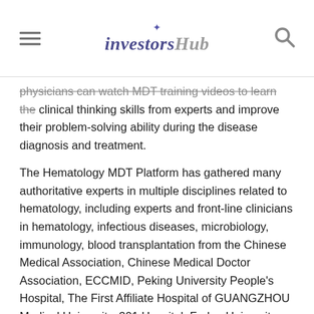investorsHub
physicians can watch MDT training videos to learn the clinical thinking skills from experts and improve their problem-solving ability during the disease diagnosis and treatment.
The Hematology MDT Platform has gathered many authoritative experts in multiple disciplines related to hematology, including experts and front-line clinicians in hematology, infectious diseases, microbiology, immunology, blood transplantation from the Chinese Medical Association, Chinese Medical Doctor Association, ECCMID, Peking University People's Hospital, The First Affiliate Hospital of GUANGZHOU Medical University, 301 Hospital, Fudan University Zhongshan Hospital, Shanghai Tongji Hospital, Ruijin Hospital, Army Medical University Affiliated Hospital, Chongqing Medical University No.1 Affiliated Hospital, Hainan General Hospital, Shenzhen